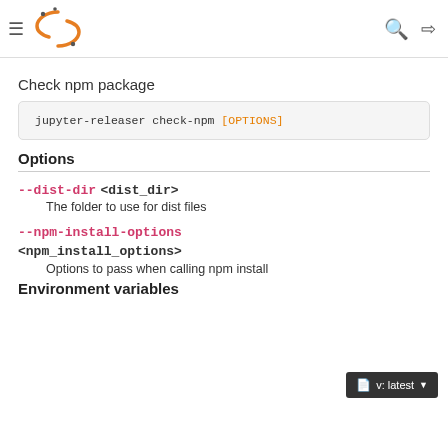Check npm package — Jupyter Releaser documentation
Check npm package
jupyter-releaser check-npm [OPTIONS]
Options
--dist-dir <dist_dir>
The folder to use for dist files
--npm-install-options <npm_install_options>
Options to pass when calling npm install
Environment variables